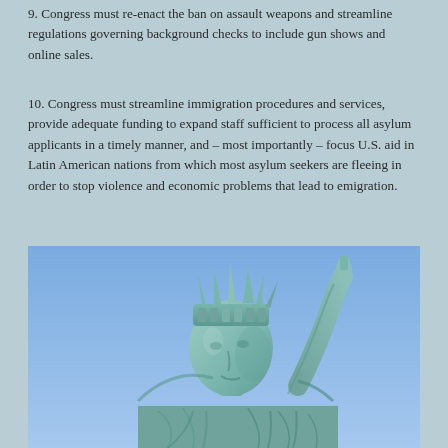9. Congress must re-enact the ban on assault weapons and streamline regulations governing background checks to include gun shows and online sales.
10. Congress must streamline immigration procedures and services, provide adequate funding to expand staff sufficient to process all asylum applicants in a timely manner, and – most importantly – focus U.S. aid in Latin American nations from which most asylum seekers are fleeing in order to stop violence and economic problems that lead to emigration.
[Figure (photo): Close-up photograph of the Statue of Liberty against a blue sky, showing the crown, face, and raised arm with torch.]